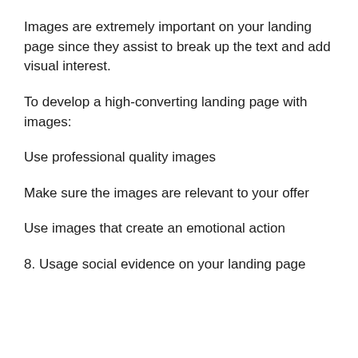Images are extremely important on your landing page since they assist to break up the text and add visual interest.
To develop a high-converting landing page with images:
Use professional quality images
Make sure the images are relevant to your offer
Use images that create an emotional action
8. Usage social evidence on your landing page